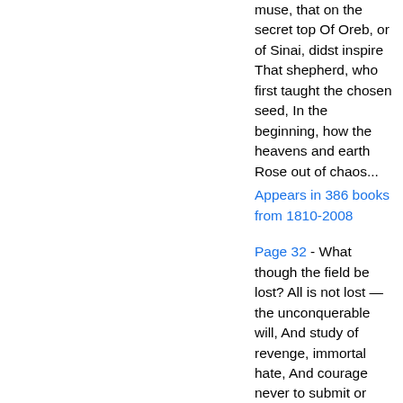muse, that on the secret top Of Oreb, or of Sinai, didst inspire That shepherd, who first taught the chosen seed, In the beginning, how the heavens and earth Rose out of chaos...
Appears in 386 books from 1810-2008
Page 32 - What though the field be lost? All is not lost — the unconquerable will, And study of revenge, immortal hate, And courage never to submit or yield: And what is else not to be overcome?
Appears in 433 books from 1705-2008